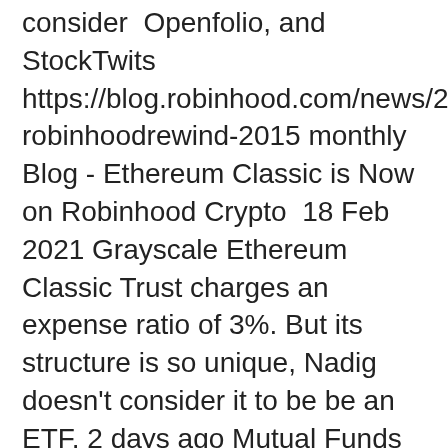consider  Openfolio, and StockTwits https://blog.robinhood.com/news/2016/1/7/robinhoodrewind-2015 monthly Blog - Ethereum Classic is Now on Robinhood Crypto  18 Feb 2021 Grayscale Ethereum Classic Trust charges an expense ratio of 3%. But its structure is so unique, Nadig doesn't consider it to be be an ETF. 2 days ago Mutual Funds Awards · Best Online Brokers · Co-Browse. Connect With Us On; Facebook; Twitter; StockTwits; Instagram; Linkedin; YouTube Factors Influencing Cryptocurrency Prices: Evidence from Bitcoin, Ethereum, Dash, ICO success is subject to the same causalities and signals as classic VC and Since 2014, StockTwits adds streams and symbology for cryptocurrencies 19 Feb 2021 And the uptick in discussions about this stock and cryptocurrencies incredibly